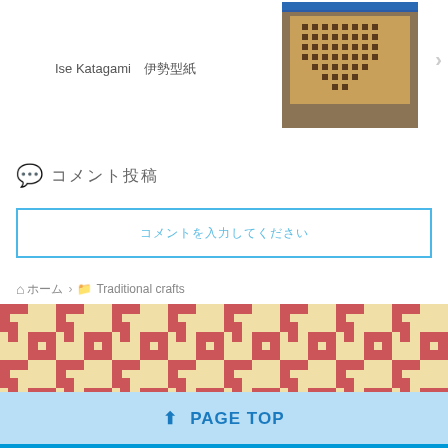Ise Katagami　伊勢型紙
[Figure (photo): Photo of Ise Katagami (Japanese stencil) craft material on a machine/table surface]
コメント投稿
コメントを入力してください
ホーム > Traditional crafts
[Figure (illustration): Japanese traditional geometric pattern in red/pink and cream colors (maze/key fret pattern)]
⬆ PAGE TOP
From Japan to the world♪　♪ Let's learn happily ♪
© 2020 From Japan to the world♪　♪ Let's learn happily ♪.